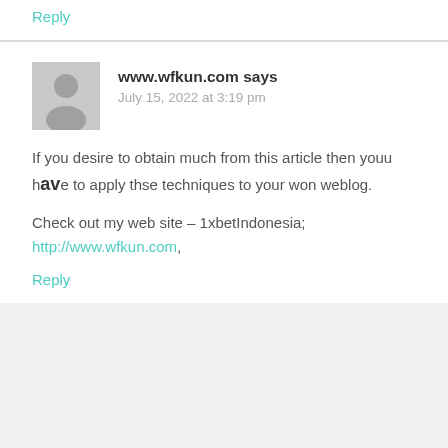Reply
[Figure (illustration): Default grey avatar/profile icon with person silhouette]
www.wfkun.com says
July 15, 2022 at 3:19 pm
If you desire to obtain much from this article then youu have to apply thse techniques to your won weblog.
Check out my web site – 1xbetIndonesia; http://www.wfkun.com,
Reply